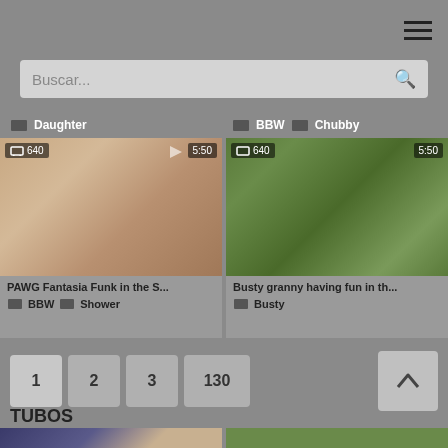≡ (hamburger menu)
Buscar...
Daughter
BBW  Chubby
[Figure (photo): Video thumbnail left - PAWG Fantasia Funk in the S... with BBW Shower tags, 640, 5:50]
[Figure (photo): Video thumbnail right - Busty granny having fun in th... with Busty tag, 640, 5:50]
1  2  3  130
TUBOS
[Figure (photo): Bottom left video thumbnail]
[Figure (photo): Bottom right video thumbnail]